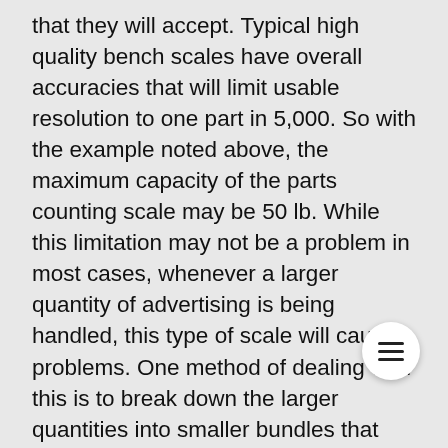that they will accept. Typical high quality bench scales have overall accuracies that will limit usable resolution to one part in 5,000. So with the example noted above, the maximum capacity of the parts counting scale may be 50 lb. While this limitation may not be a problem in most cases, whenever a larger quantity of advertising is being handled, this type of scale will cause problems. One method of dealing with this is to break down the larger quantities into smaller bundles that falls within the scale's capacity. But this has the disadvantage of requiring more effort, and the possible introduction of user errors. Another alternative is to use a Dual Platform Parts Counting Scale. In this case, a larger capacity Platform Scale is connected into the parts counting scale. This may have a capacity of 500 lb, or even 1000 lb. The smaller scale is used, as described previously, to determine the piece weight. But no large amount of the bulk mail may be placed on the platform scale. The total weight will now be divided by